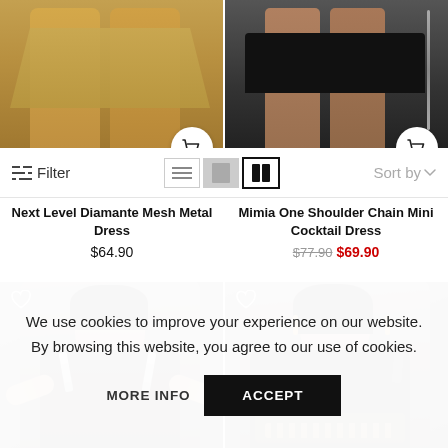[Figure (photo): Top half: two fashion product images cropped. Left shows gold/metallic dress on model legs. Right shows black mini skirt on model. Each has a cart icon button overlay.]
Filter
Sort by
Next Level Diamante Mesh Metal Dress
$64.90
Mimia One Shoulder Chain Mini Cocktail Dress
$77.90 $69.90
[Figure (photo): Left: Fashion model in black dress with crystal/diamante straps, dark background. Right: Fashion model in black one-shoulder asymmetric outfit with chain details, dark background.]
We use cookies to improve your experience on our website. By browsing this website, you agree to our use of cookies.
MORE INFO
ACCEPT